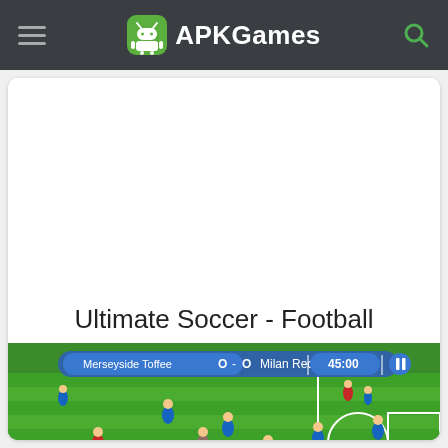APKGames
[Figure (screenshot): APKGames website screenshot showing 'Ultimate Soccer - Football' game page with a soccer game screenshot showing Merseyside Toffee 0 - 0 Milan Red at 45:00]
Ultimate Soccer - Football